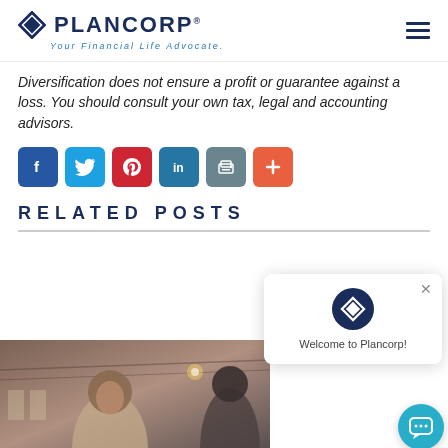PLANCORP — Your Financial Life Advocate.
Diversification does not ensure a profit or guarantee against a loss. You should consult your own tax, legal and accounting advisors.
[Figure (infographic): Social media share buttons: Facebook (blue), Twitter (light blue), Pinterest (red), LinkedIn (teal-blue), Print (gray), Plus/More (orange-red)]
RELATED POSTS
[Figure (photo): A smiling woman in a professional setting, interior with exposed ceiling and warm lighting]
[Figure (infographic): Plancorp chat popup widget with diamond logo icon and text 'Welcome to Plancorp!' plus close button, and teal chat bubble button]